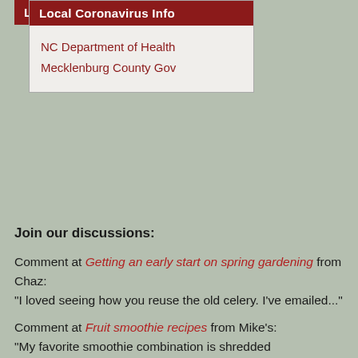Local Coronavirus Info
NC Department of Health
Mecklenburg County Gov
Join our discussions:
Comment at Getting an early start on spring gardening from Chaz:
"I loved seeing how you reuse the old celery. I've emailed..."
Comment at Fruit smoothie recipes from Mike's:
"My favorite smoothie combination is shredded